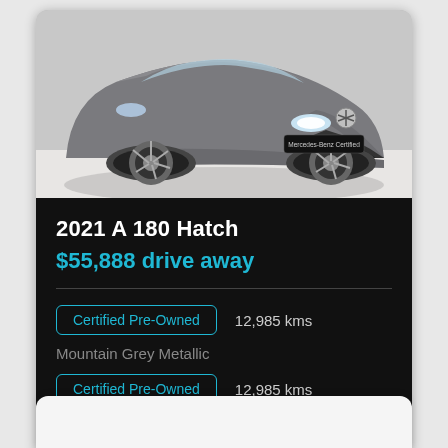[Figure (photo): Grey Mercedes-Benz A 180 Hatch photographed from the front-left angle in a showroom. The car is metallic grey with LED headlights and a Mercedes-Benz Certified badge on the front bumper.]
2021 A 180 Hatch
$55,888 drive away
Certified Pre-Owned   12,985 kms
Mountain Grey Metallic
Certified Pre-Owned   12,985 kms
Mountain Grey Metallic